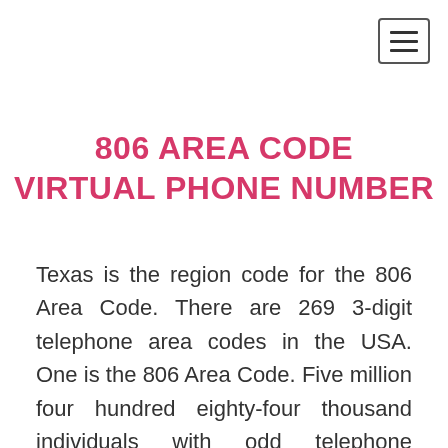[Figure (other): Hamburger menu button icon in top-right corner]
806 AREA CODE VIRTUAL PHONE NUMBER
Texas is the region code for the 806 Area Code. There are 269 3-digit telephone area codes in the USA. One is the 806 Area Code. Five million four hundred eighty-four thousand individuals with odd telephone numbers utilize it.